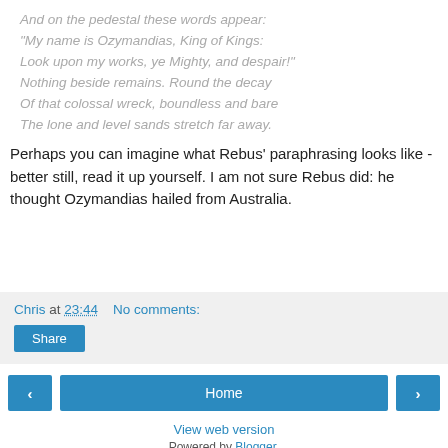And on the pedestal these words appear:
"My name is Ozymandias, King of Kings:
Look upon my works, ye Mighty, and despair!"
Nothing beside remains. Round the decay
Of that colossal wreck, boundless and bare
The lone and level sands stretch far away.
Perhaps you can imagine what Rebus' paraphrasing looks like - better still, read it up yourself. I am not sure Rebus did: he thought Ozymandias hailed from Australia.
Chris at 23:44   No comments:  Share
< Home >  View web version  Powered by Blogger.